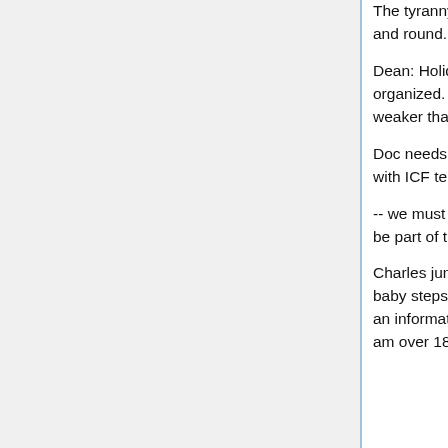The tyranny of email -- 50 thoughts in a thread -- it goes round and round.
Dean: Holidays may be a good time to get some of this organized. Proposals -- if we don't seize the moment, we'll get weaker than stronger. we all have time pressures.
Doc needs to state what he needs to have happen. Started with ICF template but then did.
-- we must discuss this and come to a decision. Doc needs to be part of that discussion. propose a set of activities.
Charles jumped to an activity that the organization could do in baby steps that has a real world example. Equifax now issues an information card that potentially has both abstract cliams (I am over 18) and concrete ones (My